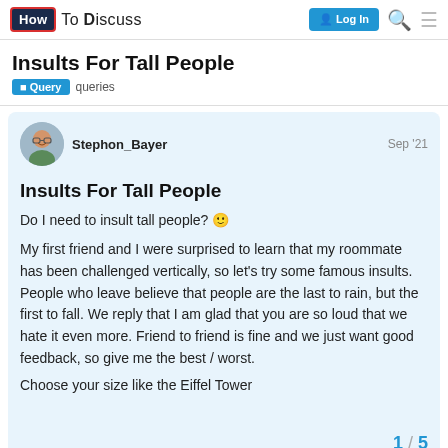How To Discuss — Log In
Insults For Tall People
Query   queries
Stephon_Bayer   Sep '21
Insults For Tall People
Do I need to insult tall people? 🙂
My first friend and I were surprised to learn that my roommate has been challenged vertically, so let's try some famous insults. People who leave believe that people are the last to rain, but the first to fall. We reply that I am glad that you are so loud that we hate it even more. Friend to friend is fine and we just want good feedback, so give me the best / worst.
Choose your size like the Eiffel Tower
1 / 5